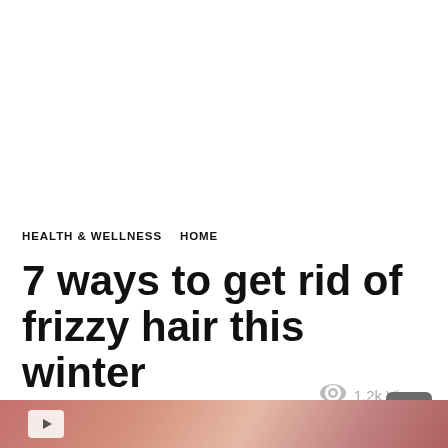HEALTH & WELLNESS   HOME
7 ways to get rid of frizzy hair this winter
1.2k Views
[Figure (photo): Bottom portion of a photo showing a person with hair, pink/warm toned background, partially visible]